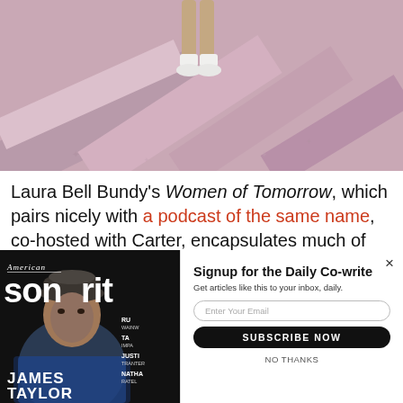[Figure (photo): Top portion of a stage or performance area with pink/mauve diagonal lines; person's legs visible from knees down wearing white sneakers, centered at top]
Laura Bell Bundy's Women of Tomorrow, which pairs nicely with a podcast of the same name, co-hosted with Carter, encapsulates much of women's modern
[Figure (photo): American Songwriter magazine cover featuring James Taylor in a flat cap and blue shirt, dark background, with sidebar text listing RU, WAINW, TA, IMPA, JUSTI, TRANTER, NATHA, RATEL]
Signup for the Daily Co-write
Get articles like this to your inbox, daily.
Enter Your Email
SUBSCRIBE NOW
NO THANKS